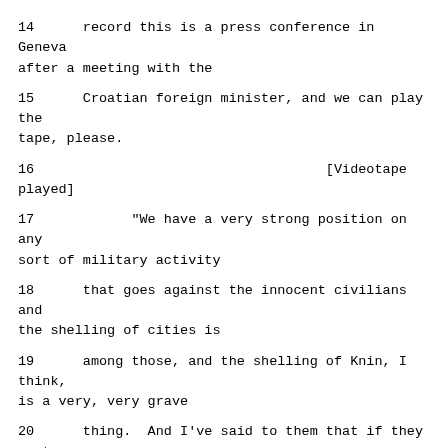14      record this is a press conference in Geneva after a meeting with the
15      Croatian foreign minister, and we can play the tape, please.
16                                    [Videotape played]
17            "We have a very strong position on any sort of military activity
18      that goes against the innocent civilians and the shelling of cities is
19      among those, and the shelling of Knin, I think, is a very, very grave
20      thing.  And I've said to them that if they want to have that clarified